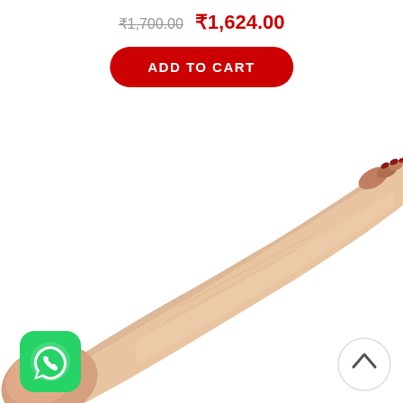₹1,700.00 ₹1,624.00
ADD TO CART
-15%
[Figure (photo): A person's arm wearing a beige/skin-colored compression sleeve or arm sleeve, extending from the shoulder area diagonally across the image, with fingers visible at the top right and the shoulder/upper arm at the bottom left. The sleeve appears to be a medical or sun-protection arm cover.]